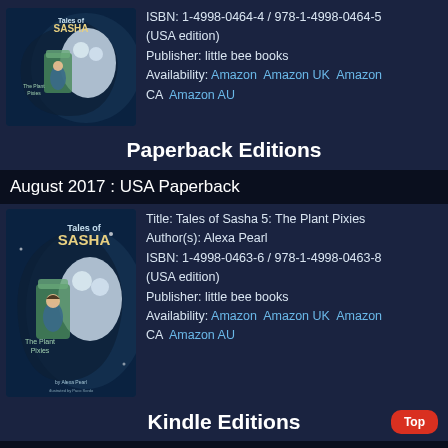[Figure (illustration): Book cover for Tales of Sasha 5: The Plant Pixies (small, top of page)]
ISBN: 1-4998-0464-4 / 978-1-4998-0464-5 (USA edition)
Publisher: little bee books
Availability: Amazon  Amazon UK  Amazon CA  Amazon AU
Paperback Editions
August 2017 : USA Paperback
[Figure (illustration): Book cover for Tales of Sasha 5: The Plant Pixies (larger)]
Title: Tales of Sasha 5: The Plant Pixies
Author(s): Alexa Pearl
ISBN: 1-4998-0463-6 / 978-1-4998-0463-8 (USA edition)
Publisher: little bee books
Availability: Amazon  Amazon UK  Amazon CA  Amazon AU
Kindle Editions
January 2020 : USA, Australia, Canada Kindle